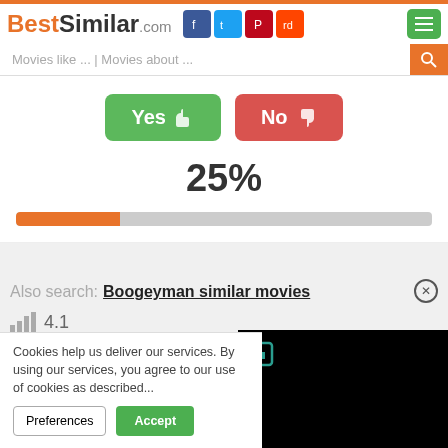BestSimilar.com
Movies like ... | Movies about ...
[Figure (infographic): Yes thumbs-up button (green) and No thumbs-down button (red) for voting]
25%
[Figure (infographic): Progress bar showing 25% filled in orange on grey background]
Also search: Boogeyman similar movies
4.1
Cookies help us deliver our services. By us... you agree to our use of cookies as describe...
Preferences    Accept